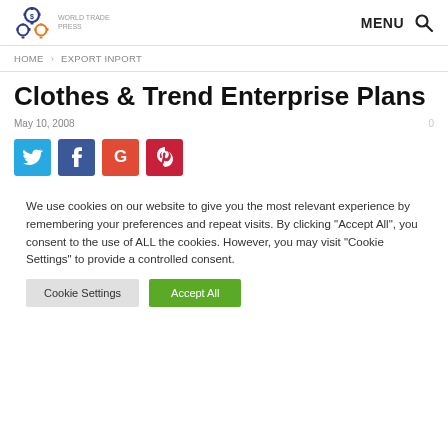MENU [search icon]
HOME > EXPORT INPORT
Clothes & Trend Enterprise Plans
May 10, 2008
[Figure (infographic): Social share buttons: Twitter (blue), Facebook (dark blue), Google+ (red-orange), Pinterest (dark red)]
We use cookies on our website to give you the most relevant experience by remembering your preferences and repeat visits. By clicking "Accept All", you consent to the use of ALL the cookies. However, you may visit "Cookie Settings" to provide a controlled consent.
Cookie Settings | Accept All